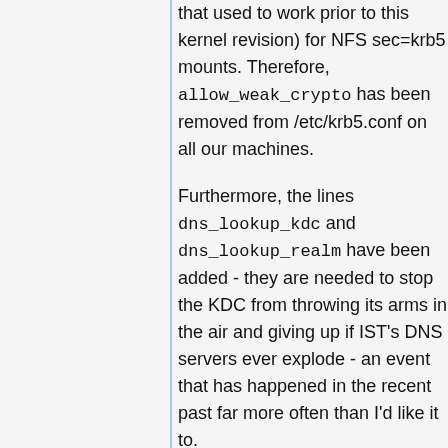that used to work prior to this kernel revision) for NFS sec=krb5 mounts. Therefore, allow_weak_crypto has been removed from /etc/krb5.conf on all our machines.
Furthermore, the lines dns_lookup_kdc and dns_lookup_realm have been added - they are needed to stop the KDC from throwing its arms in the air and giving up if IST's DNS servers ever explode - an event that has happened in the recent past far more often than I'd like it to.
Notably, allow_weak_crypto is currently needed to mount /users (/music and /scratch is sec=sys and thus will always mount, even when krb5 is down and/or broken). Otherwise, you will get a mysterious "permission denied" error (even though the server claims to